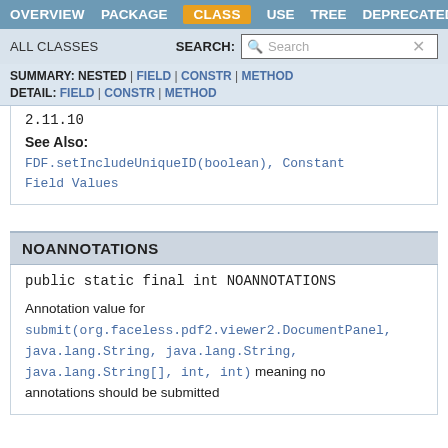OVERVIEW  PACKAGE  CLASS  USE  TREE  DEPRECATED
ALL CLASSES   SEARCH:
SUMMARY: NESTED | FIELD | CONSTR | METHOD  DETAIL: FIELD | CONSTR | METHOD
2.11.10
See Also:
FDF.setIncludeUniqueID(boolean), Constant Field Values
NOANNOTATIONS
public static final int NOANNOTATIONS
Annotation value for submit(org.faceless.pdf2.viewer2.DocumentPanel, java.lang.String, java.lang.String, java.lang.String[], int, int) meaning no annotations should be submitted